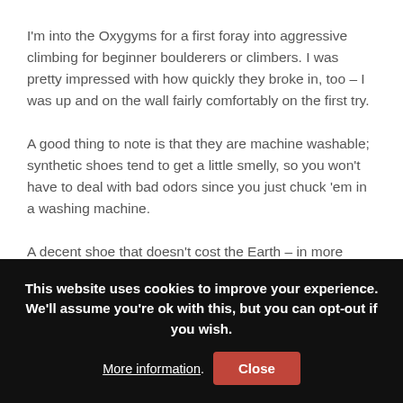I'm into the Oxygyms for a first foray into aggressive climbing for beginner boulderers or climbers. I was pretty impressed with how quickly they broke in, too – I was up and on the wall fairly comfortably on the first try.
A good thing to note is that they are machine washable; synthetic shoes tend to get a little smelly, so you won't have to deal with bad odors since you just chuck 'em in a washing machine.
A decent shoe that doesn't cost the Earth – in more ways than one!
This website uses cookies to improve your experience. We'll assume you're ok with this, but you can opt-out if you wish. More information. Close